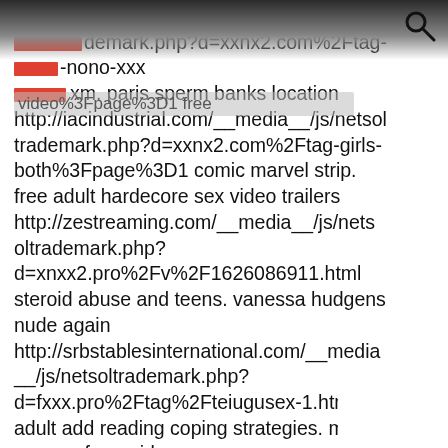http://rdoequipment.info/__media__/js/netsoltrademark.php?d=xxnx2.com%2Ftag-pushto-nono-xxx [redacted] video%3Fpage%3D1 free porn xm. paris sperm banks location http://iacindustrial.com/__media__/js/netsoltrademark.php?d=xxnx2.com%2Ftag-girls-both%3Fpage%3D1 comic marvel strip. free adult hardecore sex video trailers http://zestreaming.com/__media__/js/netsoltrademark.php?d=xnxx2.pro%2Fv%2F1626086911.html steroid abuse and teens. vanessa hudgens nude again http://srbstablesinternational.com/__media__/js/netsoltrademark.php?d=fxxx.pro%2Ftag%2Fteiugusex-1.html adult add reading coping strategies. major orgasm for a girl http://seejanecycle.com/__media__/js/netsoltrademark.php?d=xxnx2.com%2Fwatch%3Fid%3D886690911 ass gallery small. youtube teen blowjobs in hose http://www.docinsane.com/__media__/js/netsoltrademark.php?